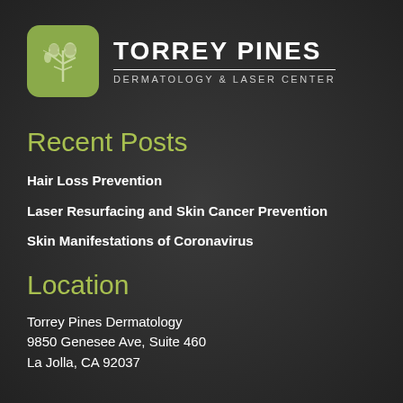[Figure (logo): Torrey Pines Dermatology & Laser Center logo with green rounded square icon showing pine cones and branches, with company name in white uppercase text]
Recent Posts
Hair Loss Prevention
Laser Resurfacing and Skin Cancer Prevention
Skin Manifestations of Coronavirus
Location
Torrey Pines Dermatology
9850 Genesee Ave, Suite 460
La Jolla, CA 92037